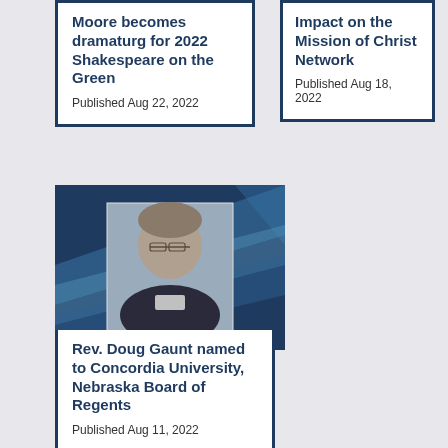Moore becomes dramaturg for 2022 Shakespeare on the Green
Published Aug 22, 2022
Impact on the Mission of Christ Network
Published Aug 18, 2022
[Figure (photo): Portrait photo of Rev. Doug Gaunt against a blue geometric background]
Rev. Doug Gaunt named to Concordia University, Nebraska Board of Regents
Published Aug 11, 2022